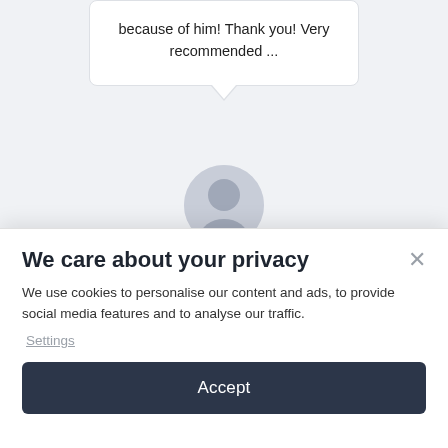because of him! Thank you! Very recommended ...
[Figure (illustration): User avatar circle placeholder, grey silhouette]
Hanna_Grace_El
We care about your privacy
We use cookies to personalise our content and ads, to provide social media features and to analyse our traffic.
Settings
Accept